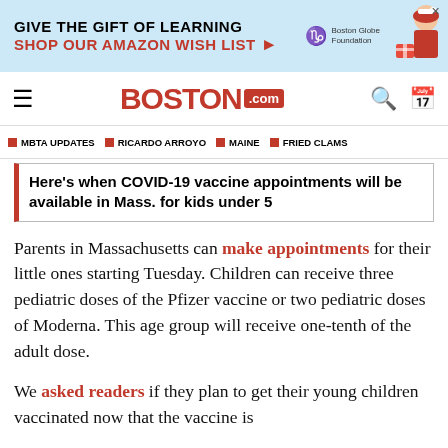[Figure (other): Advertisement banner: 'GIVE THE GIFT OF LEARNING / SHOP OUR AMAZON WISH LIST' with Boston Globe Foundation logo and illustrated figure]
BOSTON.com navigation bar with hamburger menu, Boston.com logo, search and calendar icons
MBTA UPDATES
RICARDO ARROYO
MAINE
FRIED CLAMS
Here's when COVID-19 vaccine appointments will be available in Mass. for kids under 5
Parents in Massachusetts can make appointments for their little ones starting Tuesday. Children can receive three pediatric doses of the Pfizer vaccine or two pediatric doses of Moderna. This age group will receive one-tenth of the adult dose.
We asked readers if they plan to get their young children vaccinated now that the vaccine is available to them and got mixed responses.